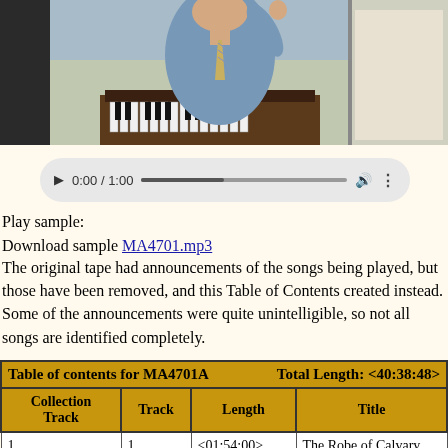[Figure (photo): Photo of a man in a blue shirt and striped tie, seated at a piano, raising one hand. Cropped at top.]
[Figure (screenshot): Audio player UI showing 0:00 / 1:00 with play button, progress bar, volume, and more options.]
Play sample:
Download sample MA4701.mp3
The original tape had announcements of the songs being played, but those have been removed, and this Table of Contents created instead. Some of the announcements were quite unintelligible, so not all songs are identified completely.
| Collection Track | Track | Length | Title |
| --- | --- | --- | --- |
| 1 | 1 | <01:54:00> | The Robe of Calvary |
| 2 | 2 | <01:29:53> | The Master Has Come |
| 3 | 3 | <01:28:10> | I Will Not Forget Thee |